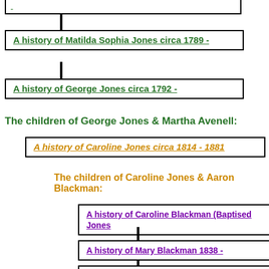[Figure (other): Partial box at top (cropped genealogy node)]
A history of Matilda Sophia Jones circa 1789 -
A history of George Jones circa 1792 -
The children of George Jones & Martha Avenell:
A history of Caroline Jones circa 1814 - 1881
The children of Caroline Jones & Aaron Blackman:
A history of Caroline Blackman (Baptised Jones
A history of Mary Blackman 1838 -
A history of Sarah Blackman 1841 -